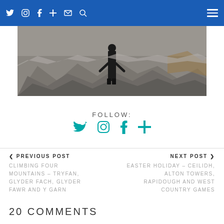Navigation bar with social icons and hamburger menu
[Figure (photo): Person standing on rocky terrain, viewed from below, wearing dark clothing and boots. Rocky landscape fills the frame.]
FOLLOW:
[Figure (infographic): Social media icons in teal: Twitter bird, Instagram camera, Facebook f, Google+ plus sign]
< PREVIOUS POST
CLIMBING FOUR MOUNTAINS – TRYFAN, GLYDER FACH, GLYDER FAWR AND Y GARN
NEXT POST >
EASTER HOLIDAY – CEILIDH, ALTON TOWERS, RAPIDOUGH AND WEST COUNTRY GAMES
20 COMMENTS